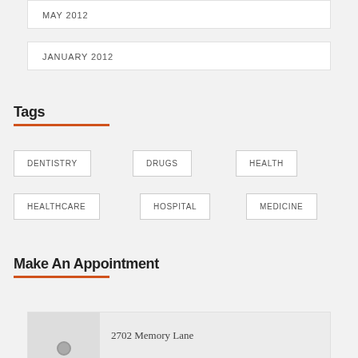MAY 2012
JANUARY 2012
Tags
DENTISTRY
DRUGS
HEALTH
HEALTHCARE
HOSPITAL
MEDICINE
Make An Appointment
2702 Memory Lane